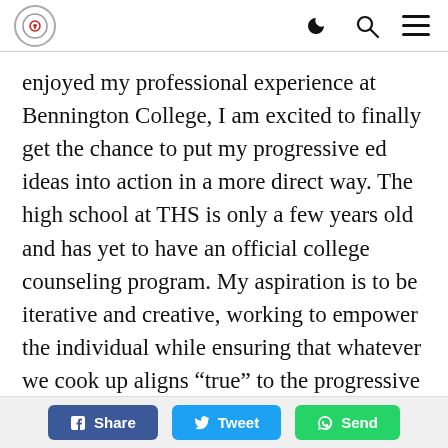[Logo] [Moon icon] [Search icon] [Menu icon]
enjoyed my professional experience at Bennington College, I am excited to finally get the chance to put my progressive ed ideas into action in a more direct way. The high school at THS is only a few years old and has yet to have an official college counseling program. My aspiration is to be iterative and creative, working to empower the individual while ensuring that whatever we cook up aligns “true” to the progressive framework THS has in place. Which brings me to the thrust of what I wanted to speak to in this post: Robert Kegan’s
Share  Tweet  Send